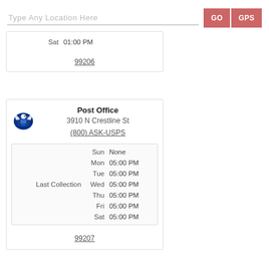Type Any Location Here
GO
GPS
|  | Day | Time |
| --- | --- | --- |
|  | Sat | 01:00 PM |
99206
[Figure (logo): USPS eagle logo in blue]
Post Office
3910 N Crestline St
(800) ASK-USPS
| Label | Day | Time |
| --- | --- | --- |
|  | Sun | None |
|  | Mon | 05:00 PM |
|  | Tue | 05:00 PM |
| Last Collection | Wed | 05:00 PM |
|  | Thu | 05:00 PM |
|  | Fri | 05:00 PM |
|  | Sat | 05:00 PM |
99207